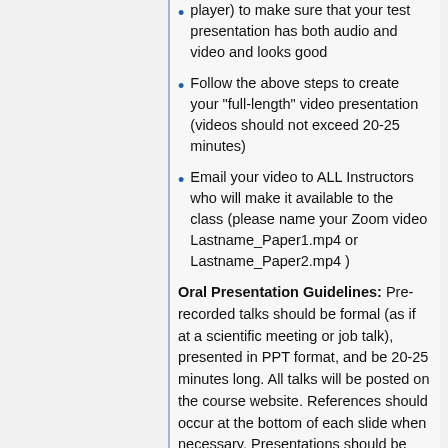player) to make sure that your test presentation has both audio and video and looks good
Follow the above steps to create your "full-length" video presentation (videos should not exceed 20-25 minutes)
Email your video to ALL Instructors who will make it available to the class (please name your Zoom video Lastname_Paper1.mp4 or Lastname_Paper2.mp4 )
Oral Presentation Guidelines: Pre-recorded talks should be formal (as if at a scientific meeting or job talk), presented in PPT format, and be 20-25 minutes long. All talks will be posted on the course website. References should occur at the bottom of each slide when necessary. Presentations should be